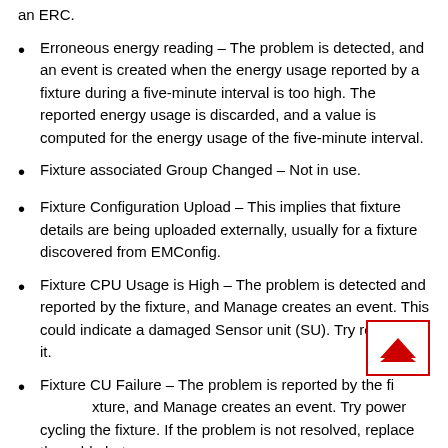an ERC.
Erroneous energy reading – The problem is detected, and an event is created when the energy usage reported by a fixture during a five-minute interval is too high. The reported energy usage is discarded, and a value is computed for the energy usage of the five-minute interval.
Fixture associated Group Changed – Not in use.
Fixture Configuration Upload – This implies that fixture details are being uploaded externally, usually for a fixture discovered from EMConfig.
Fixture CPU Usage is High – The problem is detected and reported by the fixture, and Manage creates an event. This could indicate a damaged Sensor unit (SU). Try replacing it.
Fixture CU Failure – The problem is reported by the fixture, and Manage creates an event. Try power cycling the fixture. If the problem is not resolved, replace the cable between